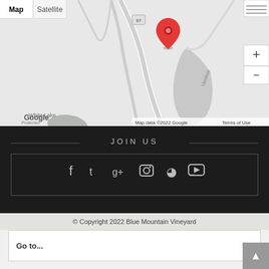[Figure (map): Google Maps view showing a location marker (red pin) near Vaseux Lake area with route 97, White Lake, and a 'Protected Area' label. Map/Satellite toggle buttons at top left, zoom +/- controls at right. Map data ©2022 Google credit shown at bottom right.]
JOIN US
© Copyright 2022 Blue Mountain Vineyard
Go to...